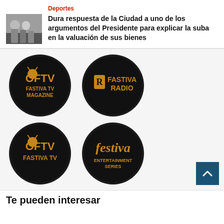Deportes
[Figure (photo): Thumbnail photo of people at a podium/press event]
Dura respuesta de la Ciudad a uno de los argumentos del Presidente para explicar la suba en la valuación de sus bienes
[Figure (logo): Four circular logos on black and gold background: Fastiva TV Magazine (OFTV), Fastiva Radio, Fastiva TV, Festiva Entertainment Series]
Te pueden interesar